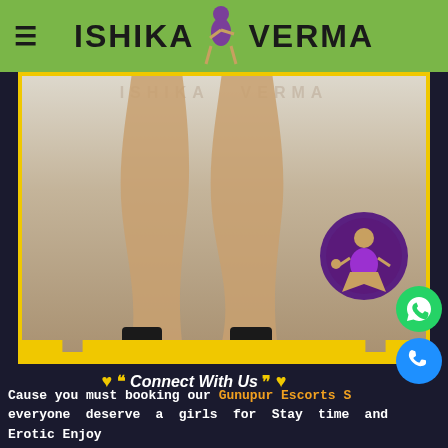ISHIKA VERMA
[Figure (photo): Website screenshot showing escort service page with logo, photo of legs in high heels, mascot illustration, connect with us tagline, and contact buttons]
❤ ❝ Connect With Us ❞ ❤
Cause you must booking our Gunupur Escorts S... everyone deserve a girls for Stay time and Erotic Enjoy